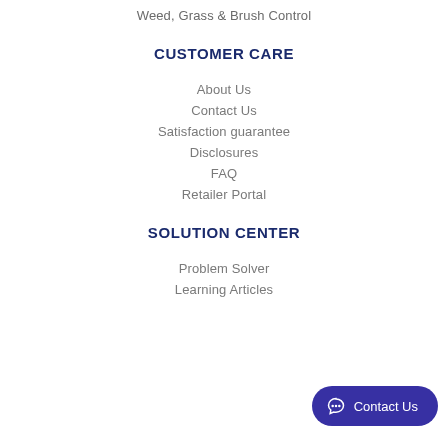Weed, Grass & Brush Control
CUSTOMER CARE
About Us
Contact Us
Satisfaction guarantee
Disclosures
FAQ
Retailer Portal
SOLUTION CENTER
Problem Solver
Learning Articles